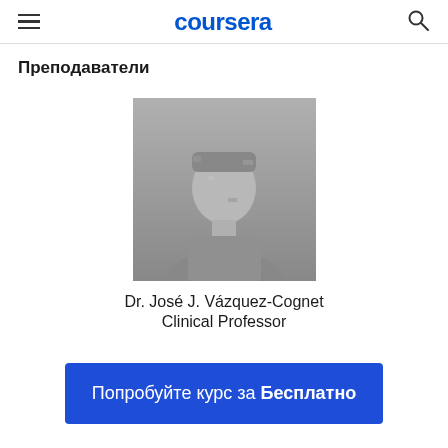coursera
Преподаватели
[Figure (photo): Profile photo of Dr. José J. Vázquez-Cognet, grayscale/blurred headshot]
Dr. José J. Vázquez-Cognet
Clinical Professor
Попробуйте курс за Бесплатно